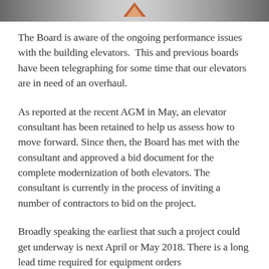[Figure (photo): Partial photo at top of page showing a blurred image with an orange/amber arrow or chevron shape in the center against a dark background]
The Board is aware of the ongoing performance issues with the building elevators.  This and previous boards have been telegraphing for some time that our elevators are in need of an overhaul.
As reported at the recent AGM in May, an elevator consultant has been retained to help us assess how to move forward. Since then, the Board has met with the consultant and approved a bid document for the complete modernization of both elevators. The consultant is currently in the process of inviting a number of contractors to bid on the project.
Broadly speaking the earliest that such a project could get underway is next April or May 2018. There is a long lead time required for equipment orders